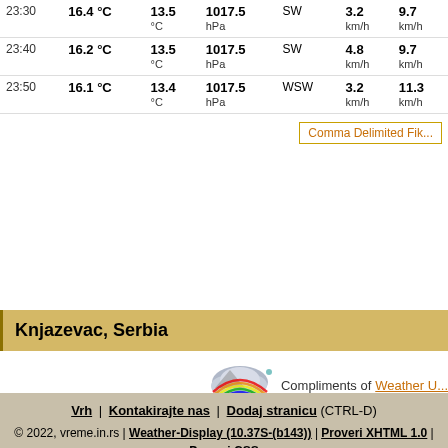| Time | Temp | Dew Point | Pressure | Wind Dir | Wind Speed | Wind Gust |
| --- | --- | --- | --- | --- | --- | --- |
| 23:30 | 16.4 °C | 13.5 °C | 1017.5 hPa | SW | 3.2 km/h | 9.7 km/h |
| 23:40 | 16.2 °C | 13.5 °C | 1017.5 hPa | SW | 4.8 km/h | 9.7 km/h |
| 23:50 | 16.1 °C | 13.4 °C | 1017.5 hPa | WSW | 3.2 km/h | 11.3 km/h |
Comma Delimited File
Knjazevac, Serbia
[Figure (logo): Weather Underground cloud and rainbow logo]
Compliments of Weather U...
Vrh | Kontakirajte nas | Dodaj stranicu (CTRL-D)
© 2022, vreme.in.rs | Weather-Display (10.37S-(b143)) | Proveri XHTML 1.0 | Proveri CSS
Never base important decisions on this or any weather information obtained from the Internet.